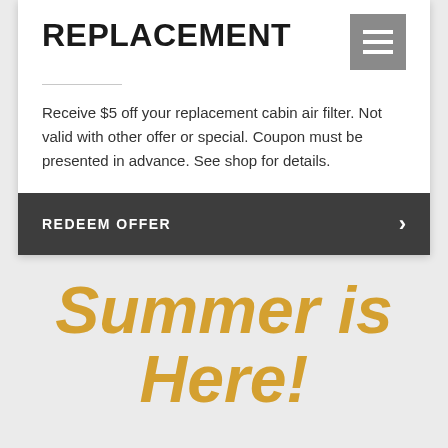REPLACEMENT
Receive $5 off your replacement cabin air filter. Not valid with other offer or special. Coupon must be presented in advance. See shop for details.
REDEEM OFFER
Summer is Here!